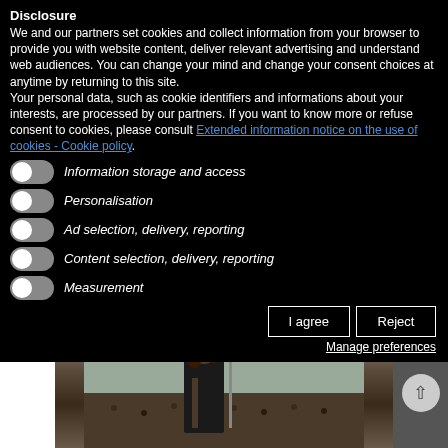Disclosure
We and our partners set cookies and collect information from your browser to provide you with website content, deliver relevant advertising and understand web audiences. You can change your mind and change your consent choices at anytime by returning to this site.
Your personal data, such as cookie identifiers and informations about your interests, are processed by our partners. If you want to know more or refuse consent to cookies, please consult Extended information notice on the use of cookies - Cookie policy.
Information storage and access
Personalisation
Ad selection, delivery, reporting
Content selection, delivery, reporting
Measurement
I agree | Reject
Manage preferences
[Figure (photo): Concert photo showing a guitarist with long hair on stage in front of a large crowd, with stage equipment visible in background.]